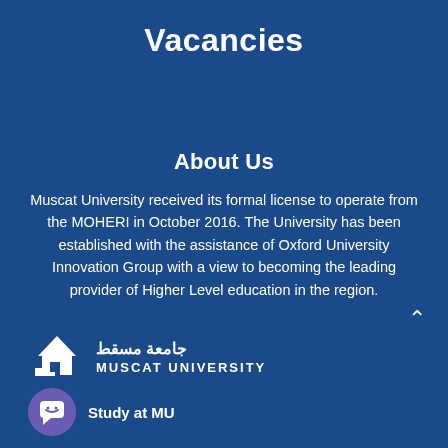Vacancies
About Us
Muscat University received its formal license to operate from the MOHERI in October 2016. The University has been established with the assistance of Oxford University Innovation Group with a view to becoming the leading provider of Higher Level education in the region.
[Figure (logo): Muscat University logo with house/building icon and Arabic text جامعة مسقط above MUSCAT UNIVERSITY]
[Figure (illustration): Purple circle chat bubble icon with chat/message symbol, labeled Study at MU]